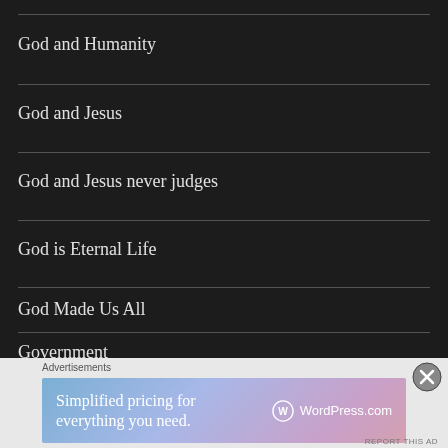God and Humanity
God and Jesus
God and Jesus never judges
God is Eternal Life
God Made Us All
Government
Advertisements
[Figure (infographic): WordPress.com advertisement banner: 'Simplified pricing for everything you need.' with WordPress.com logo]